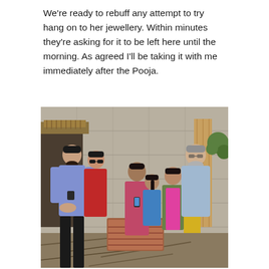We're ready to rebuff any attempt to try hang on to her jewellery. Within minutes they're asking for it to be left here until the morning. As agreed I'll be taking it with me immediately after the Pooja.
[Figure (photo): A group of people standing outside a rough concrete block building. On the left, a young man in a light blue kurta stands near a doorway with a thatched roof overhang. Behind him is a woman in a red outfit wearing sunglasses. In the center, a woman in a red/pink patterned dress looks at a phone, with a child in a blue top beside her. On the right, a girl in a pink outfit with a green cardigan stands near a large rusty metal container. Behind them stands an older man with grey hair and beard wearing a light blue shirt. The ground has branches and debris scattered around.]